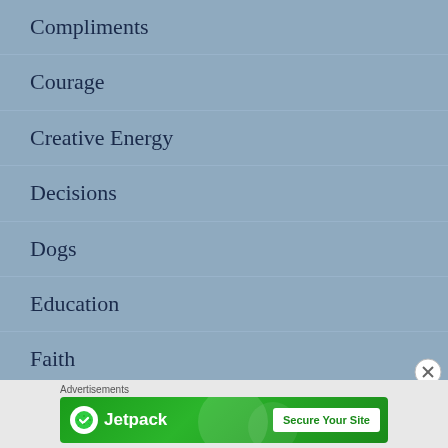Compliments
Courage
Creative Energy
Decisions
Dogs
Education
Faith
Family
[Figure (screenshot): Jetpack advertisement banner with green background, Jetpack logo on the left, and 'Secure Your Site' button on the right]
Advertisements